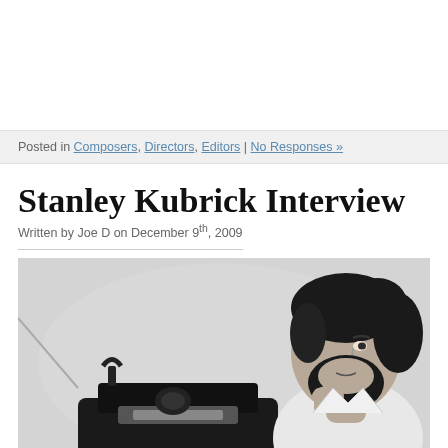Posted in Composers, Directors, Editors | No Responses »
Stanley Kubrick Interview
Written by Joe D on December 9th, 2009
[Figure (photo): Black and white photograph of Stanley Kubrick, a bearded man with curly hair, resting his chin on his hand while looking at a camera/film equipment in the foreground.]